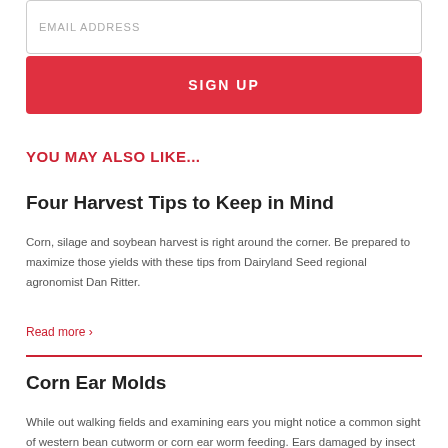EMAIL ADDRESS
SIGN UP
YOU MAY ALSO LIKE...
Four Harvest Tips to Keep in Mind
Corn, silage and soybean harvest is right around the corner. Be prepared to maximize those yields with these tips from Dairyland Seed regional agronomist Dan Ritter.
Read more ›
Corn Ear Molds
While out walking fields and examining ears you might notice a common sight of western bean cutworm or corn ear worm feeding. Ears damaged by insect pressure, coupled with recent wet weather in some areas, can increase the potential for ear rots to set in.